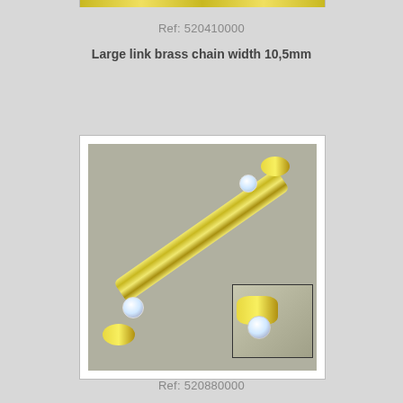[Figure (photo): Top partial image of a brass chain product (cropped at top of page)]
Ref: 520410000
Large link brass chain width 10,5mm
[Figure (photo): Close-up photo of a large link brass chain with crystal/rhinestone connectors, shown diagonally on gray background with an inset detail of the crystal connector]
Ref: 520880000